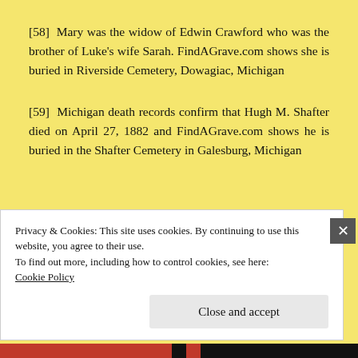[58] Mary was the widow of Edwin Crawford who was the brother of Luke's wife Sarah. FindAGrave.com shows she is buried in Riverside Cemetery, Dowagiac, Michigan
[59] Michigan death records confirm that Hugh M. Shafter died on April 27, 1882 and FindAGrave.com shows he is buried in the Shafter Cemetery in Galesburg, Michigan
Privacy & Cookies: This site uses cookies. By continuing to use this website, you agree to their use.
To find out more, including how to control cookies, see here:
Cookie Policy
Close and accept